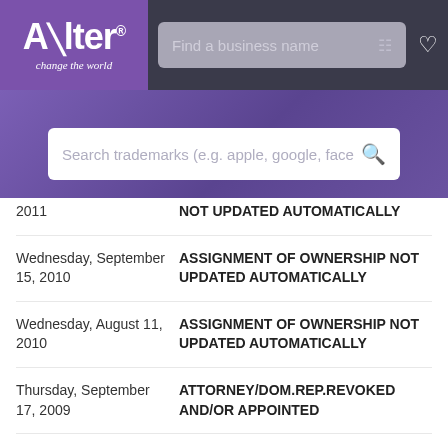Alter - change the world | Find a business name
[Figure (screenshot): Alter logo with purple background and 'change the world' tagline, navigation bar with 'Find a business name' search field]
[Figure (screenshot): Search bar with placeholder text 'Search trademarks (e.g. apple, google, face']
| Date | Event |
| --- | --- |
| 2011 | NOT UPDATED AUTOMATICALLY |
| Wednesday, September 15, 2010 | ASSIGNMENT OF OWNERSHIP NOT UPDATED AUTOMATICALLY |
| Wednesday, August 11, 2010 | ASSIGNMENT OF OWNERSHIP NOT UPDATED AUTOMATICALLY |
| Thursday, September 17, 2009 | ATTORNEY/DOM.REP.REVOKED AND/OR APPOINTED |
| Thursday, September 17, 2009 | TEAS REVOKE/APP/CHANGE ADDR OF ATTY/DOM REP RECEIVED |
| Tuesday, December 18, | REGISTERED-PRINCIPAL |